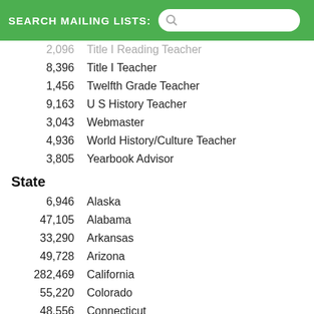SEARCH MAILING LISTS:
2,096   Title I Reading Teacher
8,396   Title I Teacher
1,456   Twelfth Grade Teacher
9,163   U S History Teacher
3,043   Webmaster
4,936   World History/Culture Teacher
3,805   Yearbook Advisor
State
6,946   Alaska
47,105   Alabama
33,290   Arkansas
49,728   Arizona
282,469   California
55,220   Colorado
48,556   Connecticut
5,964   District of Columbia
10,199   Delaware
175,220   Florida